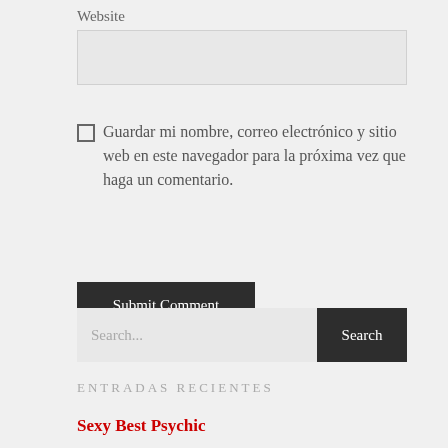Website
Guardar mi nombre, correo electrónico y sitio web en este navegador para la próxima vez que haga un comentario.
Submit Comment
Search...
ENTRADAS RECIENTES
Sexy Best Psychic